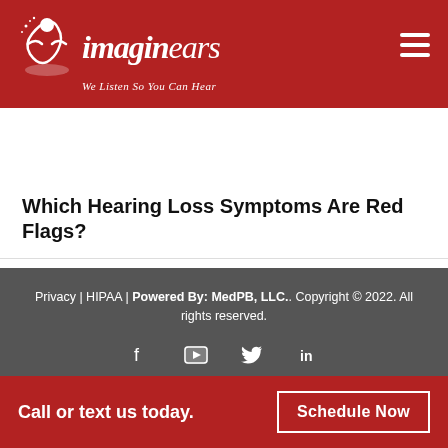[Figure (logo): Imaginears logo with person figure icon, italic text 'imaginears' and tagline 'We Listen So You Can Hear' on red background]
Noisy Summer Activities Call For Ear Protection
Which Hearing Loss Symptoms Are Red Flags?
Privacy | HIPAA | Powered By: MedPB, LLC.. Copyright © 2022. All rights reserved.
Call or text us today.
Schedule Now